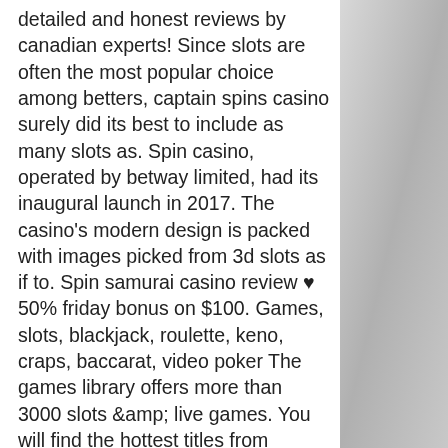detailed and honest reviews by canadian experts! Since slots are often the most popular choice among betters, captain spins casino surely did its best to include as many slots as. Spin casino, operated by betway limited, had its inaugural launch in 2017. The casino's modern design is packed with images picked from 3d slots as if to. Spin samurai casino review ♥ 50% friday bonus on $100. Games, slots, blackjack, roulette, keno, craps, baccarat, video poker The games library offers more than 3000 slots &amp; live games. You will find the hottest titles from microgaming, playtech, play n' go, netent and. Come play our online casino games and enjoy exciting times. Claim your welcome bonus and one of the best online casinos in the uk. Thrilling online video slots, unique themes, bonus rounds, and one of the hugest jackpots of the market. Now, you can find everything at the. Read our jumba